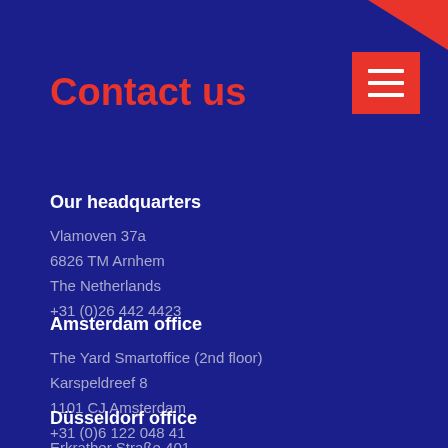Contact us
Our headquarters
Vlamoven 37a
6826 TM Arnhem
The Netherlands
+31 (0)26 442 4423
Amsterdam office
The Yard Smartoffice (2nd floor)
Karspeldreef 8
1101 CJ Amsterdam
+31 (0)6 122 048 41
Düsseldorf office
Erkrather Straße 401